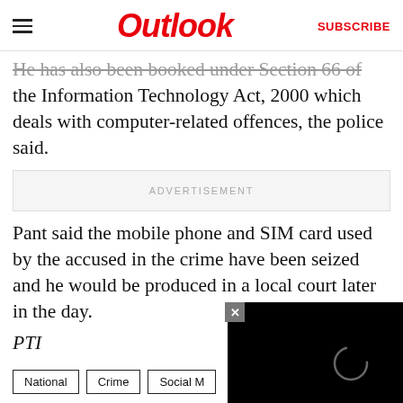Outlook  SUBSCRIBE
He has also been booked under Section 66 of the Information Technology Act, 2000 which deals with computer-related offences, the police said.
ADVERTISEMENT
Pant said the mobile phone and SIM card used by the accused in the crime have been seized and he would be produced in a local court later in the day.
PTI
[Figure (screenshot): Black video player overlay with close button and loading spinner circle]
National  Crime  Social M